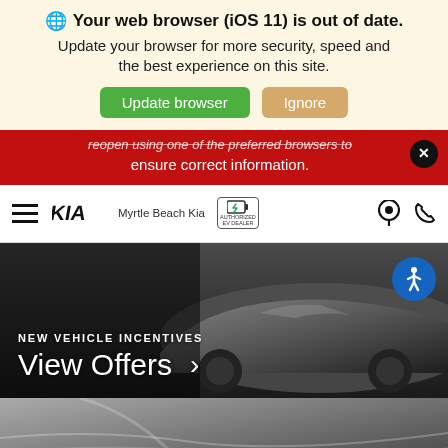🌐 Your web browser (iOS 11) is out of date.
Update your browser for more security, speed and the best experience on this site.
Update browser | Ignore
reopen using one of the preferred browsers to ensure correct information.
[Figure (screenshot): Kia dealership website navigation bar with Kia logo, Myrtle Beach Kia text, EV authorized badge, location pin icon, and phone icon]
[Figure (photo): Hero banner showing a dark Kia sedan with text NEW VEHICLE INCENTIVES and View Offers with arrow]
[Figure (photo): Close-up detail shot of a silver/chrome car surface]
Search | Saved | Share | Contact